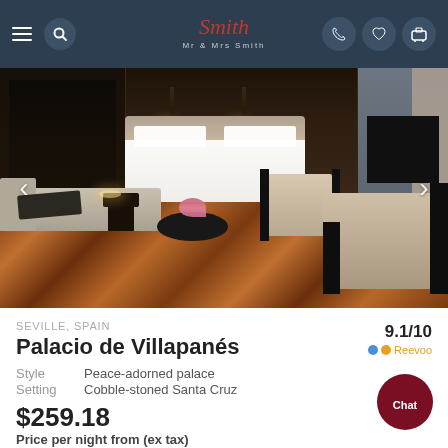Mr & Mrs Smith navigation bar
[Figure (photo): Hotel room interior showing a luxurious suite with a large bed, sofa, armchairs, and herringbone hardwood floor]
SEVILLE, SPAIN
9.1/10
Palacio de Villapanés
Reevoo
Style   Peace-adorned palace
Setting   Cobble-stoned Santa Cruz
$259.18
Price per night from (ex tax)
Offers available
Best-price guarantee